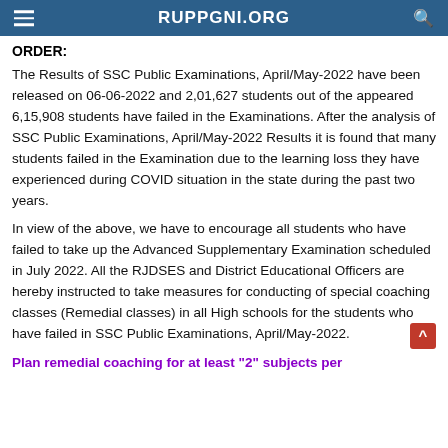RUPPGNI.ORG
ORDER:
The Results of SSC Public Examinations, April/May-2022 have been released on 06-06-2022 and 2,01,627 students out of the appeared 6,15,908 students have failed in the Examinations. After the analysis of SSC Public Examinations, April/May-2022 Results it is found that many students failed in the Examination due to the learning loss they have experienced during COVID situation in the state during the past two years.
In view of the above, we have to encourage all students who have failed to take up the Advanced Supplementary Examination scheduled in July 2022. All the RJDSES and District Educational Officers are hereby instructed to take measures for conducting of special coaching classes (Remedial classes) in all High schools for the students who have failed in SSC Public Examinations, April/May-2022.
Plan remedial coaching for at least "2" subjects per